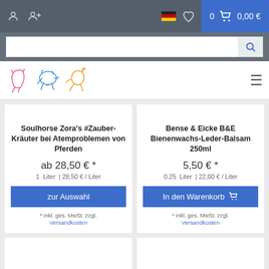Navigation bar with user icons, German flag, wishlist, cart: 0, 0,00 €
Search bar
[Figure (logo): Pet shop logo with three animal outlines (cat in pink, dog in blue, horse in orange) and hamburger menu icon]
Soulhorse Zora's #Zauber-Kräuter bei Atemproblemen von Pferden
ab 28,50 € *
1  Liter  | 28,50 € / Liter
zur Auswahl
* inkl. ges. MwSt. zzgl.
Versandkosten
Bense & Eicke B&E Bienenwachs-Leder-Balsam 250ml
5,50 € *
0.25  Liter  | 22,00 € / Liter
In den Warenkorb
* inkl. ges. MwSt. zzgl.
Versandkosten